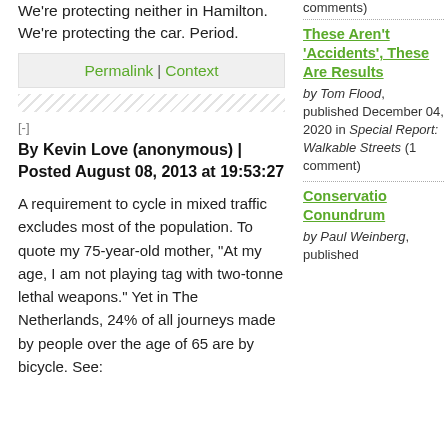We're protecting neither in Hamilton. We're protecting the car. Period.
Permalink | Context
[-]
By Kevin Love (anonymous) | Posted August 08, 2013 at 19:53:27
A requirement to cycle in mixed traffic excludes most of the population. To quote my 75-year-old mother, "At my age, I am not playing tag with two-tonne lethal weapons." Yet in The Netherlands, 24% of all journeys made by people over the age of 65 are by bicycle. See:
comments)
These Aren't 'Accidents', These Are Results
by Tom Flood, published December 04, 2020 in Special Report: Walkable Streets (1 comment)
Conservation Conundrum
by Paul Weinberg, published